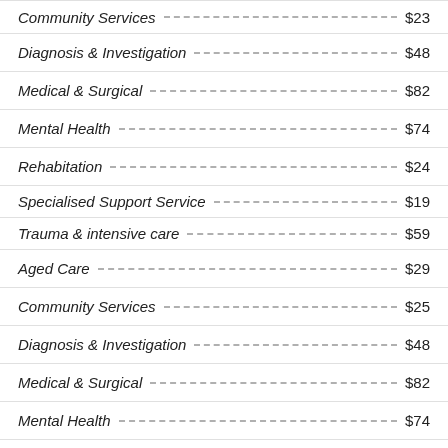Community Services ... $23
Diagnosis & Investigation ... $48
Medical & Surgical ... $82
Mental Health ... $74
Rehabitation ... $24
Specialised Support Service ... $19
Trauma & intensive care ... $59
Aged Care ... $29
Community Services ... $25
Diagnosis & Investigation ... $48
Medical & Surgical ... $82
Mental Health ... $74
Rehabitation ... $24s